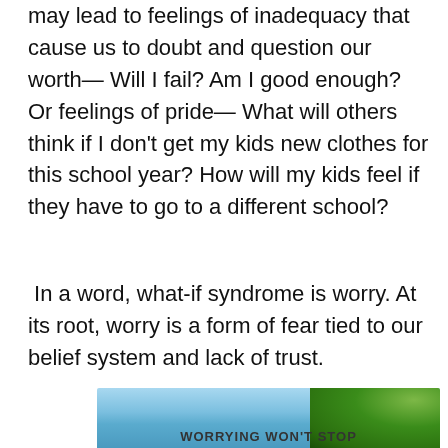may lead to feelings of inadequacy that cause us to doubt and question our worth— Will I fail? Am I good enough? Or feelings of pride— What will others think if I don't get my kids new clothes for this school year? How will my kids feel if they have to go to a different school?
In a word, what-if syndrome is worry. At its root, worry is a form of fear tied to our belief system and lack of trust.
[Figure (photo): Partial image showing a sky background with green trees on the right side, with text 'WORRYING WON'T STOP' visible at the bottom]